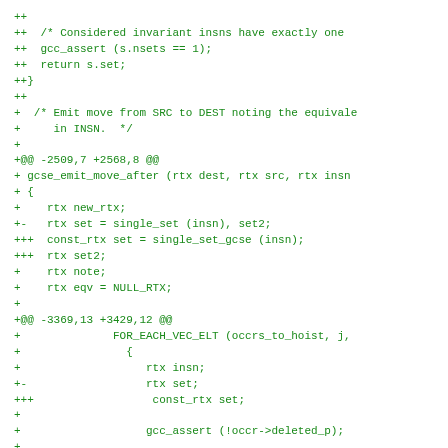++
++  /* Considered invariant insns have exactly one
++  gcc_assert (s.nsets == 1);
++  return s.set;
++}
++
+  /* Emit move from SRC to DEST noting the equivale
+     in INSN.  */
+
+@@ -2509,7 +2568,8 @@
+ gcse_emit_move_after (rtx dest, rtx src, rtx insn
+ {
+    rtx new_rtx;
+-   rtx set = single_set (insn), set2;
+++  const_rtx set = single_set_gcse (insn);
+++  rtx set2;
+    rtx note;
+    rtx eqv = NULL_RTX;
+
+@@ -3369,13 +3429,12 @@
+              FOR_EACH_VEC_ELT (occrs_to_hoist, j,
+                {
+                   rtx insn;
+-                  rtx set;
+++                  const_rtx set;
+
+                   gcc_assert (!occr->deleted_p);
+
+                   insn = occr->insn;
+-                  set = single_set (insn);